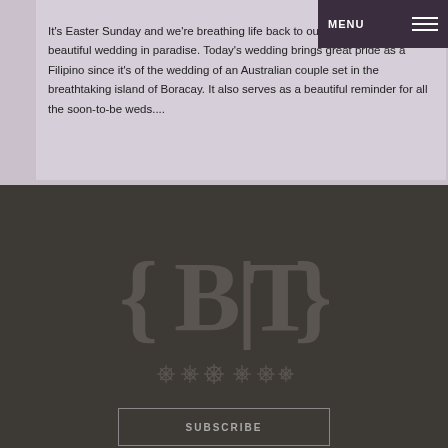It's Easter Sunday and we're breathing life back to our blog with this beautiful wedding in paradise. Today's wedding brings great pride as a Filipino since it's of the wedding of an Australian couple set in the breathtaking island of Boracay. It also serves as a beautiful reminder for all the soon-to-be weds....
[Figure (logo): Logo showing {B|T} in large serif bold text on dark background]
[Figure (illustration): Decorative floral/snowflake ornament icons row]
SUBSCRIBE